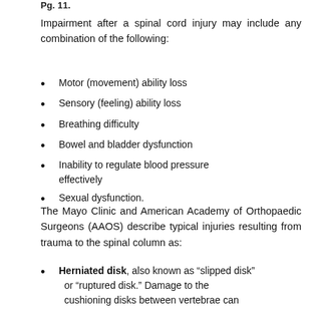Pg. 11.
Impairment after a spinal cord injury may include any combination of the following:
Motor (movement) ability loss
Sensory (feeling) ability loss
Breathing difficulty
Bowel and bladder dysfunction
Inability to regulate blood pressure effectively
Sexual dysfunction.
The Mayo Clinic and American Academy of Orthopaedic Surgeons (AAOS) describe typical injuries resulting from trauma to the spinal column as:
Herniated disk, also known as “slipped disk” or “ruptured disk.” Damage to the cushioning disks between vertebrae can